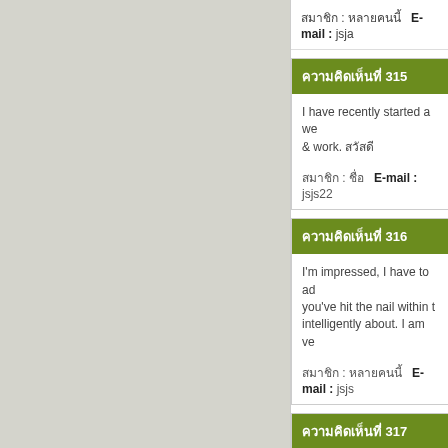สมาชิก : หลายคนนี้   E-mail : jsja...
ความคิดเห็นที่ 315
I have recently started a we & work. สวัสดี
สมาชิก : ชื่อ   E-mail : jsjs22...
ความคิดเห็นที่ 316
I'm impressed, I have to ad you've hit the nail within t intelligently about. I am ve
สมาชิก : หลายคนนี้   E-mail : jsjs...
ความคิดเห็นที่ 317
GreatAssignmentHelper.co What's more, this is the fu have been offering our pro